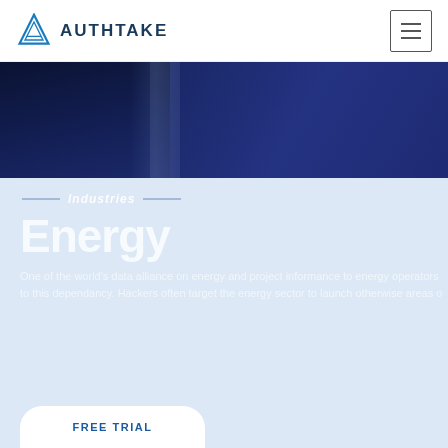AUTHTAKE
[Figure (photo): Dark navy blue hero band showing industrial/energy equipment in the background]
Industries
Energy
One of the world's data alliance on energy and project informance to energy operators to this dependancy. Hackers often target the energy sector to launch otherwise areas o
FREE TRIAL